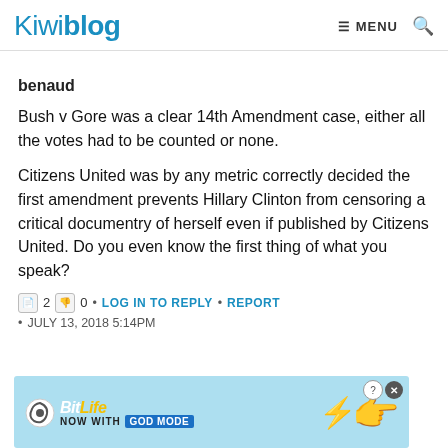Kiwiblog  ☰ MENU  🔍
benaud
Bush v Gore was a clear 14th Amendment case, either all the votes had to be counted or none.
Citizens United was by any metric correctly decided the first amendment prevents Hillary Clinton from censoring a critical documentry of herself even if published by Citizens United. Do you even know the first thing of what you speak?
2  0  •  LOG IN TO REPLY  •  REPORT
•  JULY 13, 2018 5:14PM
[Figure (screenshot): BitLife advertisement banner with blue background showing 'BitLife Now with GOD MODE' text and pointing hand graphic]